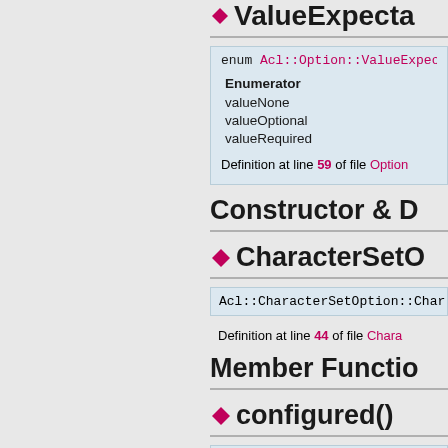ValueExpecta...
| Enumerator |
| --- |
| valueNone |
| valueOptional |
| valueRequired |
Definition at line 59 of file Option...
Constructor & D...
CharacterSetO...
Acl::CharacterSetOption::Char...
Definition at line 44 of file Chara...
Member Functio...
configured()